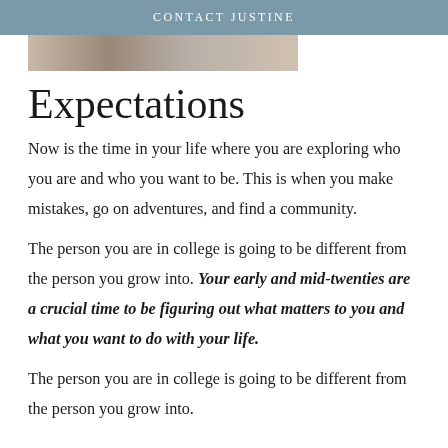CONTACT JUSTINE
[Figure (photo): Partial photo strip visible at top of page showing an outdoor scene with figures]
Expectations
Now is the time in your life where you are exploring who you are and who you want to be. This is when you make mistakes, go on adventures, and find a community.
The person you are in college is going to be different from the person you grow into. Your early and mid-twenties are a crucial time to be figuring out what matters to you and what you want to do with your life.
The person you are in college is going to be different from the person you grow into.